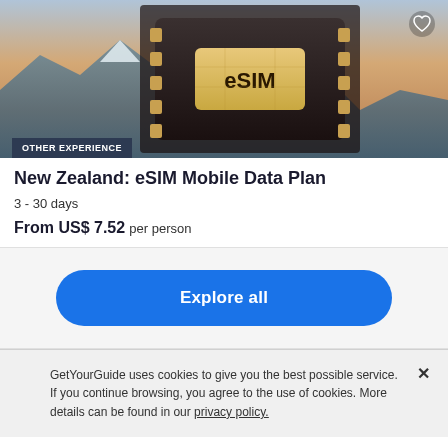[Figure (photo): eSIM chip card on a landscape background showing snow-capped mountains and a dramatic sky. The chip card has 'eSIM' text on it. A white heart icon is in the top-right corner. A dark badge reading 'OTHER EXPERIENCE' is in the bottom-left.]
New Zealand: eSIM Mobile Data Plan
3 - 30 days
From US$ 7.52 per person
Explore all
GetYourGuide uses cookies to give you the best possible service. If you continue browsing, you agree to the use of cookies. More details can be found in our privacy policy.